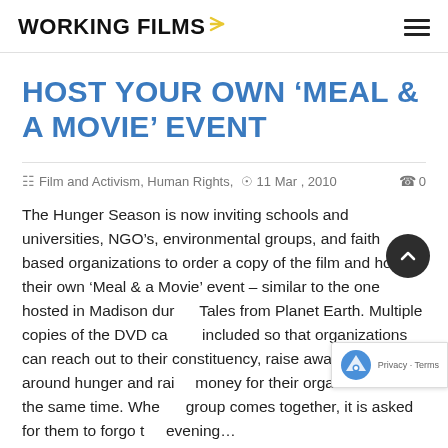WORKING FILMS
HOST YOUR OWN 'MEAL & A MOVIE' EVENT
Film and Activism, Human Rights, 11 Mar , 2010  0
The Hunger Season is now inviting schools and universities, NGO's, environmental groups, and faith based organizations to order a copy of the film and host their own 'Meal & a Movie' event – similar to the one hosted in Madison during Tales from Planet Earth. Multiple copies of the DVD can be included so that organizations can reach out to their constituency, raise awareness around hunger and raise money for their organization at the same time. When a group comes together, it is asked for them to forgo the evening...